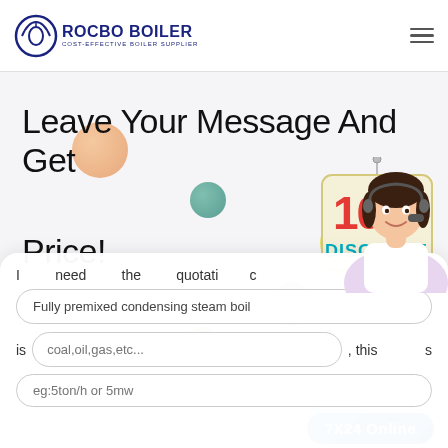ROCBO BOILER - COST-EFFECTIVE BOILER SUPPLIER
Leave Your Message And Get Price!
[Figure (illustration): 10% DISCOUNT sign hanging graphic with decorative colored bubbles]
I need the quotation of
Fully premixed condensing steam boil
is coal,oil,gas,etc..., this
eg:5ton/h or 5mw
[Figure (photo): Customer service representative with headset]
7X24 Online